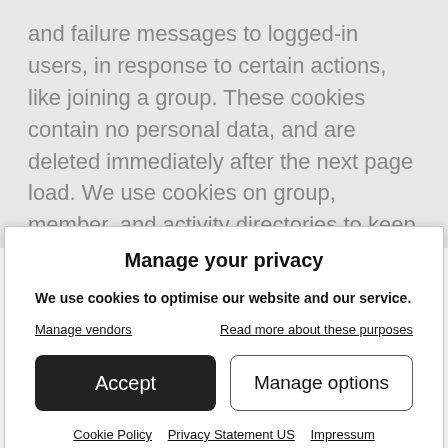and failure messages to logged-in users, in response to certain actions, like joining a group. These cookies contain no personal data, and are deleted immediately after the next page load. We use cookies on group, member, and activity directories to keep track of a user's browsing preferences. These preferences include the last-selected values of the sort and filter dropdowns, as well as pagination information. These cookies contain no personal data,
Manage your privacy
We use cookies to optimise our website and our service.
Manage vendors
Read more about these purposes
Accept
Manage options
Cookie Policy   Privacy Statement US   Impressum